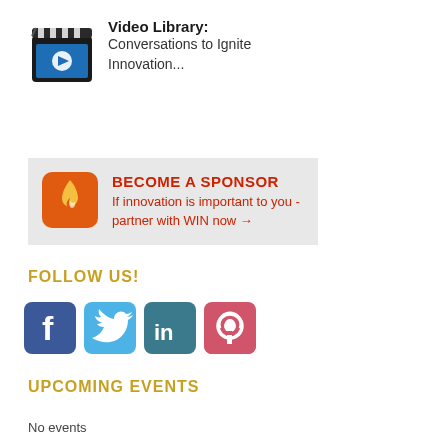[Figure (illustration): Video Library icon: film clapperboard with a blue video player screen showing a play button]
Video Library:
Conversations to Ignite Innovation...
[Figure (logo): Orange flame icon on rounded orange square background — sponsor/WIN logo]
BECOME A SPONSOR
If innovation is important to you - partner with WIN now →
FOLLOW US!
[Figure (illustration): Social media icons: Facebook (blue), Twitter (light blue), LinkedIn (dark teal), Pinterest (red/pink)]
UPCOMING EVENTS
No events